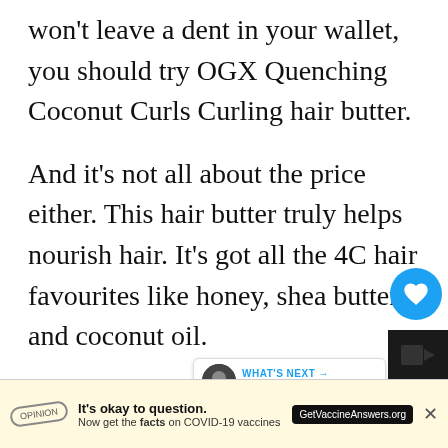won't leave a dent in your wallet, you should try OGX Quenching Coconut Curls Curling hair butter.
And it's not all about the price either. This hair butter truly helps nourish hair. It's got all the 4C hair favourites like honey, shea butter and coconut oil.
They soften your curls and keep them from getting frizzy. We like how this product works fo...
[Figure (screenshot): Like button (heart icon, blue circle) with count 1, and share button below it. 'WHAT'S NEXT' tooltip showing article preview '10 Tips On How To Reta...' with avatar photo.]
[Figure (screenshot): COVID-19 vaccine advertisement banner: 'It's okay to question. Now get the facts on COVID-19 vaccines GetVaccineAnswers.org' with close X button. Dark video/thumbnail in bottom right corner.]